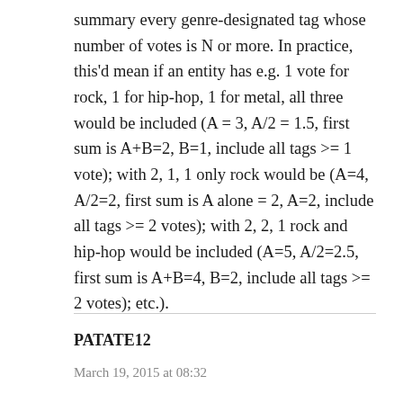summary every genre-designated tag whose number of votes is N or more. In practice, this'd mean if an entity has e.g. 1 vote for rock, 1 for hip-hop, 1 for metal, all three would be included (A = 3, A/2 = 1.5, first sum is A+B=2, B=1, include all tags >= 1 vote); with 2, 1, 1 only rock would be (A=4, A/2=2, first sum is A alone = 2, A=2, include all tags >= 2 votes); with 2, 2, 1 rock and hip-hop would be included (A=5, A/2=2.5, first sum is A+B=4, B=2, include all tags >= 2 votes); etc.).
PATATE12
March 19, 2015 at 08:32